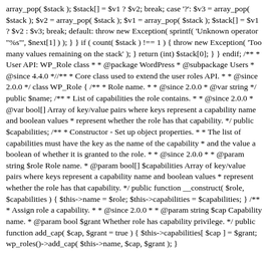array_pop( $stack ); $stack[] = $v1 ? $v2; break; case '?': $v3 = array_pop( $stack ); $v2 = array_pop( $stack ); $v1 = array_pop( $stack ); $stack[] = $v1 ? $v2 : $v3; break; default: throw new Exception( sprintf( 'Unknown operator "%s"', $next[1] ) ); } } if ( count( $stack ) !== 1 ) { throw new Exception( 'Too many values remaining on the stack' ); } return (int) $stack[0]; } } endif; /** * User API: WP_Role class * * @package WordPress * @subpackage Users * @since 4.4.0 *//** * Core class used to extend the user roles API. * * @since 2.0.0 */ class WP_Role { /** * Role name. * * @since 2.0.0 * @var string */ public $name; /** * List of capabilities the role contains. * * @since 2.0.0 * @var bool[] Array of key/value pairs where keys represent a capability name and boolean values * represent whether the role has that capability. */ public $capabilities; /** * Constructor - Set up object properties. * * The list of capabilities must have the key as the name of the capability * and the value a boolean of whether it is granted to the role. * * @since 2.0.0 * * @param string $role Role name. * @param bool[] $capabilities Array of key/value pairs where keys represent a capability name and boolean values * represent whether the role has that capability. */ public function __construct( $role, $capabilities ) { $this->name = $role; $this->capabilities = $capabilities; } /** * Assign role a capability. * * @since 2.0.0 * * @param string $cap Capability name. * @param bool $grant Whether role has capability privilege. */ public function function add_cap( $cap, $grant = true ) { $this->capabilities[ $cap ] = $grant; wp_roles()->add_cap( $this->name, $cap, $grant ); }